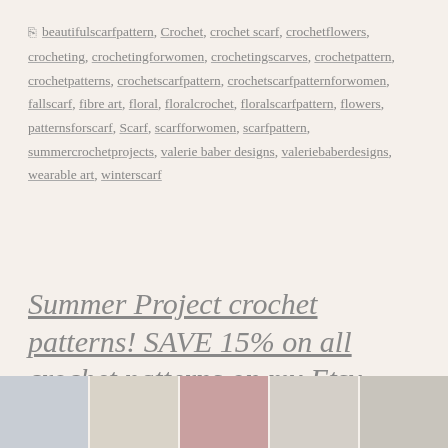beautifulscarfpattern, Crochet, crochet scarf, crochetflowers, crocheting, crochetingforwomen, crochetingscarves, crochetpattern, crochetpatterns, crochetscarfpattern, crochetscarfpatternforwomen, fallscarf, fibre art, floral, floralcrochet, floralscarfpattern, flowers, patternsforscarf, Scarf, scarfforwomen, scarfpattern, summercrochetprojects, valerie baber designs, valeriebaberdesigns, wearable art, winterscarf
Summer Project crochet patterns! SAVE 15% on all crochet patterns on my Etsy store for a limited time.
[Figure (photo): Strip of five small thumbnail images of crochet scarves and patterns at the bottom of the page]